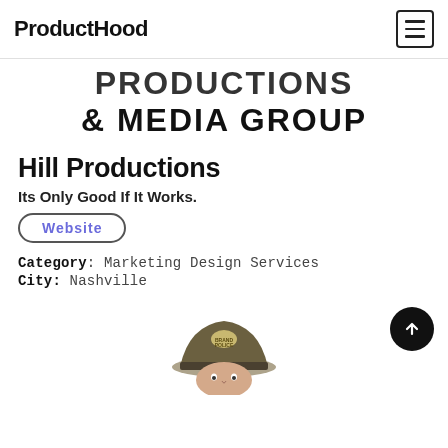ProductHood
PRODUCTIONS & MEDIA GROUP
Hill Productions
Its Only Good If It Works.
Website
Category: Marketing Design Services
City: Nashville
[Figure (illustration): Illustration of a figure wearing a police-style cap labeled 'BRAND POLICE', partially visible at the bottom of the page.]